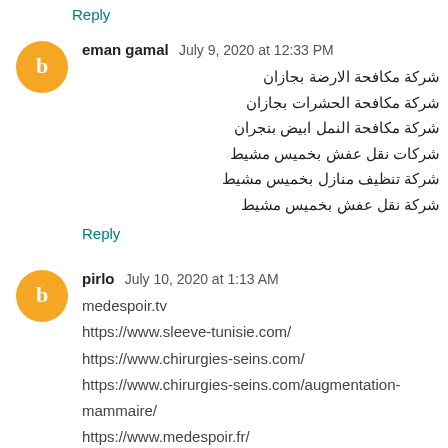Reply
eman gamal  July 9, 2020 at 12:33 PM
شركة مكافحة الارضة بجازان
شركة مكافحة الحشرات بجازان
شركة مكافحة النمل ابيض بنجران
شركات نقل عفش بخميس مشيط
شركة تنظيف منازل بخميس مشيط
شركة نقل عفش بخميس مشيط
Reply
pirlo  July 10, 2020 at 1:13 AM
medespoir.tv
https://www.sleeve-tunisie.com/
https://www.chirurgies-seins.com/
https://www.chirurgies-seins.com/augmentation-mammaire/
https://www.medespoir.fr/
Reply